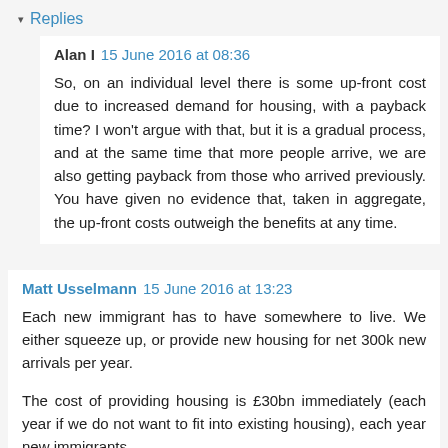▾ Replies
Alan I  15 June 2016 at 08:36
So, on an individual level there is some up-front cost due to increased demand for housing, with a payback time? I won't argue with that, but it is a gradual process, and at the same time that more people arrive, we are also getting payback from those who arrived previously. You have given no evidence that, taken in aggregate, the up-front costs outweigh the benefits at any time.
Matt Usselmann  15 June 2016 at 13:23
Each new immigrant has to have somewhere to live. We either squeeze up, or provide new housing for net 300k new arrivals per year.
The cost of providing housing is £30bn immediately (each year if we do not want to fit into existing housing), each year new immigrants